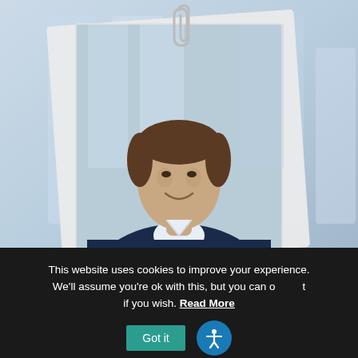[Figure (photo): A professional headshot photo of a man in a dark navy sweater over a white collared shirt, smiling, shown in a polaroid-style card with a paperclip at the top, layered over another card, on a blurred blue-tinted office background.]
This website uses cookies to improve your experience. We'll assume you're ok with this, but you can opt out if you wish. Read More
Got it